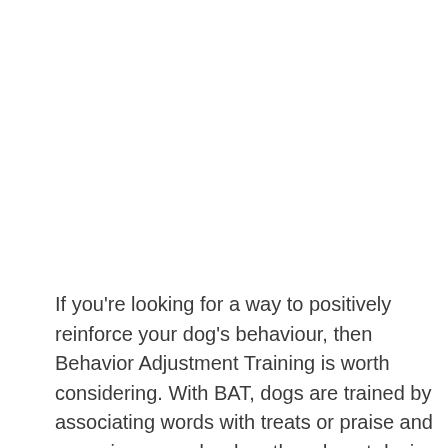If you're looking for a way to positively reinforce your dog's behaviour, then Behavior Adjustment Training is worth considering. With BAT, dogs are trained by associating words with treats or praise and removing rewards when they do not desire. The process of BAT can be used on timid dogs as well as aggressive ones! It typically takes at least one week before the new behaviour successfully becomes a routine, it all...